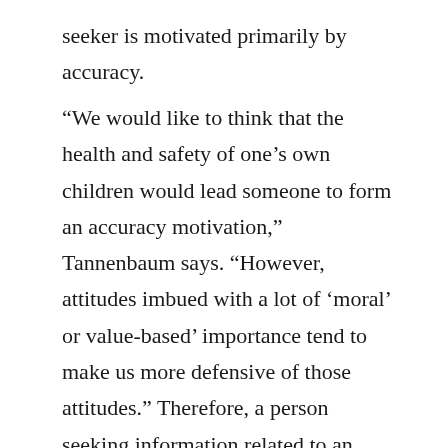seeker is motivated primarily by accuracy.
“We would like to think that the health and safety of one’s own children would lead someone to form an accuracy motivation,” Tannenbaum says. “However, attitudes imbued with a lot of ‘moral’ or value-based’ importance tend to make us more defensive of those attitudes.” Therefore, a person seeking information related to an issue with moral undertones is more likely to fall into that “congeniality bias,” seeking confirming information, even if they think they are